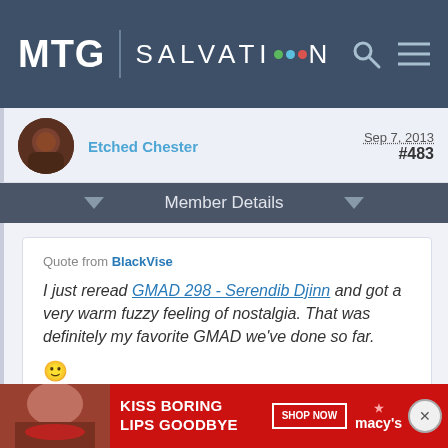MTG | SALVATION
Etched Chester   Sep 7, 2013  #483
Member Details
Quote from BlackVise
I just reread GMAD 298 - Serendib Djinn and got a very warm fuzzy feeling of nostalgia. That was definitely my favorite GMAD we've done so far. :)
[Figure (photo): Advertisement banner: KISS BORING LIPS GOODBYE - SHOP NOW - Macy's]
KISS BORING LIPS GOODBYE  SHOP NOW  macy's  X